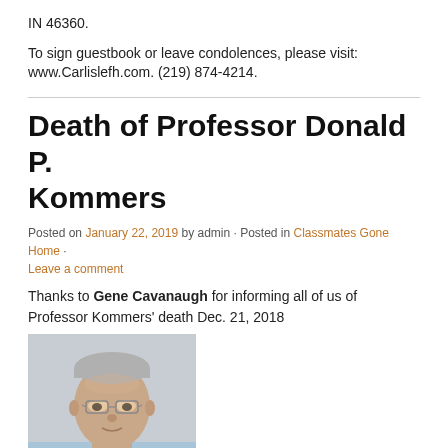IN 46360.
To sign guestbook or leave condolences, please visit: www.Carlislefh.com. (219) 874-4214.
Death of Professor Donald P. Kommers
Posted on January 22, 2019 by admin · Posted in Classmates Gone Home · Leave a comment
Thanks to Gene Cavanaugh for informing all of us of Professor Kommers' death Dec. 21, 2018
[Figure (photo): Portrait photo of an elderly man with glasses, gray hair, wearing a light blue shirt, smiling slightly.]